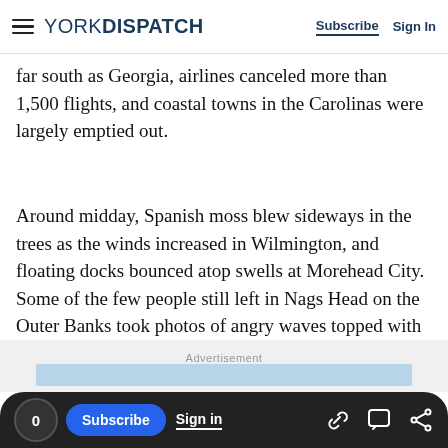YORK DISPATCH | Subscribe | Sign In
far south as Georgia, airlines canceled more than 1,500 flights, and coastal towns in the Carolinas were largely emptied out.
Around midday, Spanish moss blew sideways in the trees as the winds increased in Wilmington, and floating docks bounced atop swells at Morehead City. Some of the few people still left in Nags Head on the Outer Banks took photos of angry waves topped with white froth.
Advertisement
[Figure (other): Light blue advertisement placeholder box]
0 | Subscribe | Sign in